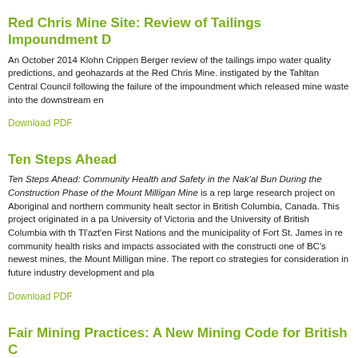Red Chris Mine Site: Review of Tailings Impoundment D
An October 2014 Klohn Crippen Berger review of the tailings impo water quality predictions, and geohazards at the Red Chris Mine. instigated by the Tahltan Central Council following the failure of the impoundment which released mine waste into the downstream en
Download PDF
Ten Steps Ahead
Ten Steps Ahead: Community Health and Safety in the Nak'al Bun During the Construction Phase of the Mount Milligan Mine is a rep large research project on Aboriginal and northern community healt sector in British Columbia, Canada. This project originated in a pa University of Victoria and the University of British Columbia with th Tl'azt'en First Nations and the municipality of Fort St. James in rel community health risks and impacts associated with the constructi one of BC's newest mines, the Mount Milligan mine. The report co strategies for consideration in future industry development and pla
Download PDF
Fair Mining Practices: A New Mining Code for British C
A report from the Fair Mining Collaborative, focusing on positive so